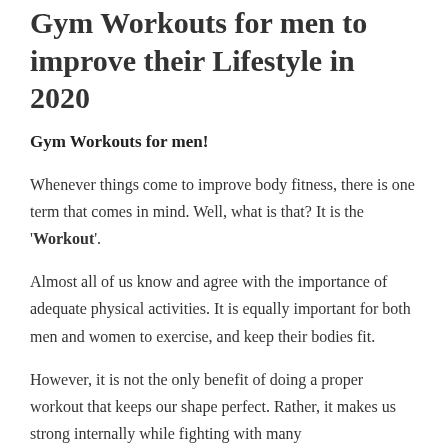Gym Workouts for men to improve their Lifestyle in 2020
Gym Workouts for men!
Whenever things come to improve body fitness, there is one term that comes in mind. Well, what is that? It is the 'Workout'.
Almost all of us know and agree with the importance of adequate physical activities. It is equally important for both men and women to exercise, and keep their bodies fit.
However, it is not the only benefit of doing a proper workout that keeps our shape perfect. Rather, it makes us strong internally while fighting with many